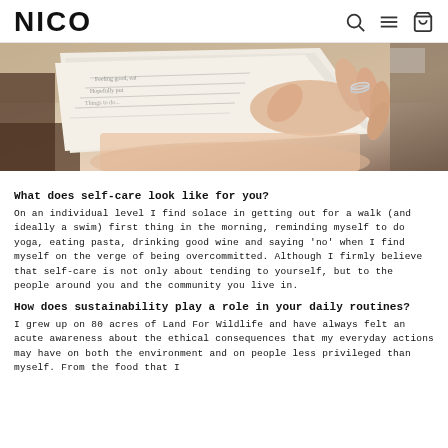NICO
[Figure (photo): Close-up photo of a person's hands holding an open notebook/journal on their lap, wearing a silver ring. A wooden chair is visible in the background.]
What does self-care look like for you?
On an individual level I find solace in getting out for a walk (and ideally a swim) first thing in the morning, reminding myself to do yoga, eating pasta, drinking good wine and saying 'no' when I find myself on the verge of being overcommitted. Although I firmly believe that self-care is not only about tending to yourself, but to the people around you and the community you live in.
How does sustainability play a role in your daily routines?
I grew up on 80 acres of Land For Wildlife and have always felt an acute awareness about the ethical consequences that my everyday actions may have on both the environment and on people less privileged than myself. From the food that I